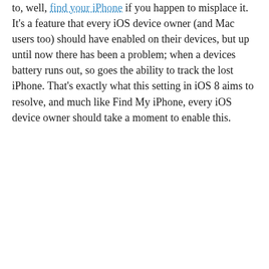to, well, find your iPhone if you happen to misplace it. It's a feature that every iOS device owner (and Mac users too) should have enabled on their devices, but up until now there has been a problem; when a devices battery runs out, so goes the ability to track the lost iPhone. That's exactly what this setting in iOS 8 aims to resolve, and much like Find My iPhone, every iOS device owner should take a moment to enable this.